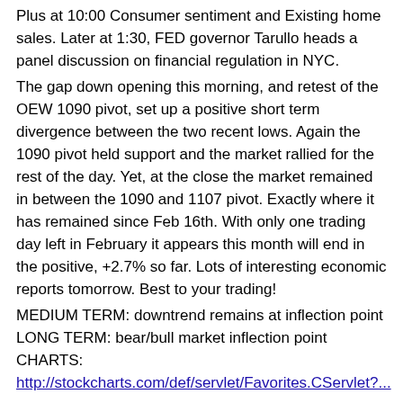Plus at 10:00 Consumer sentiment and Existing home sales. Later at 1:30, FED governor Tarullo heads a panel discussion on financial regulation in NYC.
The gap down opening this morning, and retest of the OEW 1090 pivot, set up a positive short term divergence between the two recent lows. Again the 1090 pivot held support and the market rallied for the rest of the day. Yet, at the close the market remained in between the 1090 and 1107 pivot. Exactly where it has remained since Feb 16th. With only one trading day left in February it appears this month will end in the positive, +2.7% so far. Lots of interesting economic reports tomorrow. Best to your trading!
MEDIUM TERM: downtrend remains at inflection point
LONG TERM: bear/bull market inflection point
CHARTS:
http://stockcharts.com/def/servlet/Favorites.CServlet?...